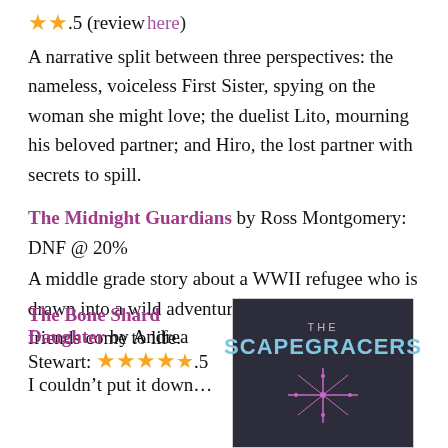★★.5 (review here)
A narrative split between three perspectives: the nameless, voiceless First Sister, spying on the woman she might love; the duelist Lito, mourning his beloved partner; and Hiro, the lost partner with secrets to spill.
The Midnight Guardians by Ross Montgomery: DNF @ 20%
A middle grade story about a WWII refugee who is drawn into a wild adventure when his imaginary friends come to life.
The Bone Shard Daughter by Andrea Stewart: ★★★★.5
I couldn't put it down...
[Figure (photo): Book cover of 'The Scapegracers' — dark background with title in blue stylized font and a sparkle/starburst motif below.]